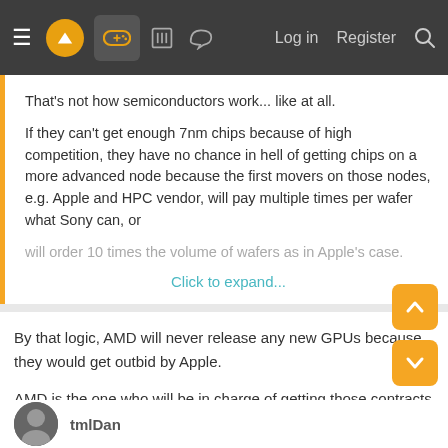Navigation bar with menu, logo, gaming icon, building icon, chat icon, Log in, Register, Search
That's not how semiconductors work... like at all.

If they can't get enough 7nm chips because of high competition, they have no chance in hell of getting chips on a more advanced node because the first movers on those nodes, e.g. Apple and HPC vendor, will pay multiple times per wafer what Sony can, or will order 10 times the volume of wafers as in Apple's case.
Click to expand...
By that logic, AMD will never release any new GPUs because they would get outbid by Apple.
AMD is the one who will be in charge of getting those contracts and Sony deals with AMD. Sony knows AMD's plans for future GPUs and theoretically its possible for Sony to use their leverage for a sizeable share of any future chip production.
tmlDan